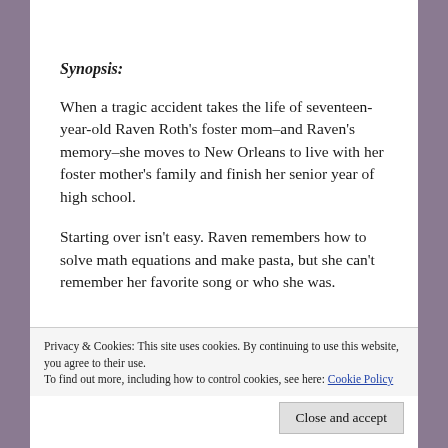Synopsis:
When a tragic accident takes the life of seventeen-year-old Raven Roth's foster mom–and Raven's memory–she moves to New Orleans to live with her foster mother's family and finish her senior year of high school.
Starting over isn't easy. Raven remembers how to solve math equations and make pasta, but she can't remember her favorite song or who she was.
Privacy & Cookies: This site uses cookies. By continuing to use this website, you agree to their use.
To find out more, including how to control cookies, see here: Cookie Policy
Close and accept